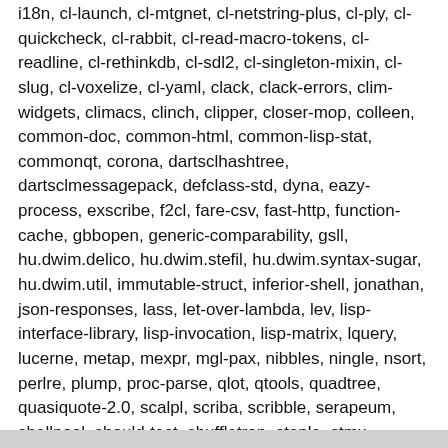i18n, cl-launch, cl-mtgnet, cl-netstring-plus, cl-ply, cl-quickcheck, cl-rabbit, cl-read-macro-tokens, cl-readline, cl-rethinkdb, cl-sdl2, cl-singleton-mixin, cl-slug, cl-voxelize, cl-yaml, clack, clack-errors, clim-widgets, climacs, clinch, clipper, closer-mop, colleen, common-doc, common-html, common-lisp-stat, commonqt, corona, dartsclhashtree, dartsclmessagepack, defclass-std, dyna, eazy-process, exscribe, f2cl, fare-csv, fast-http, function-cache, gbbopen, generic-comparability, gsll, hu.dwim.delico, hu.dwim.stefil, hu.dwim.syntax-sugar, hu.dwim.util, immutable-struct, inferior-shell, jonathan, json-responses, lass, let-over-lambda, lev, lisp-interface-library, lisp-invocation, lisp-matrix, lquery, lucerne, metap, mexpr, mgl-pax, nibbles, ningle, nsort, perlre, plump, proc-parse, qlot, qtools, quadtree, quasiquote-2.0, scalpl, scriba, scribble, serapeum, shellpool, should-test, shuffletron, staple, stmx, stumpwm, thorn, transparent-wrap, trivial-download, usocket, with-c-syntax, wookie.
To get this update, use (ql:update-dist "quicklisp").